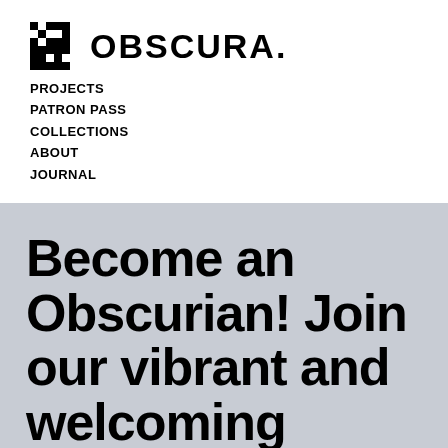[Figure (logo): Obscura pixel/checkerboard X logo mark followed by OBSCURA. wordmark in bold sans-serif]
PROJECTS
PATRON PASS
COLLECTIONS
ABOUT
JOURNAL
Become an Obscurian! Join our vibrant and welcoming community of